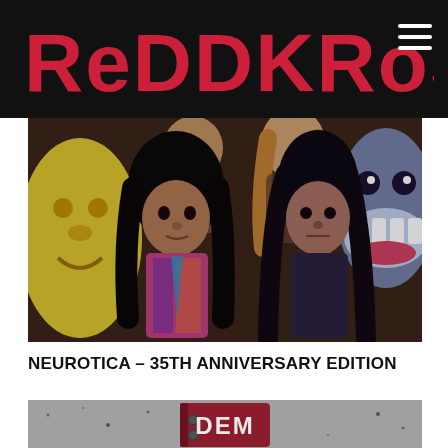ReDDKRoSS
[Figure (photo): Band photo of Redd Kross members posing with cartoon character costumes/masks in the background. Two male band members with long dark hair in foreground, additional members behind them, surrounded by colorful cartoon character figures including a yellow face on left and blue character on right.]
NEUROTICA – 35TH ANNIVERSARY EDITION
[Figure (photo): Partial view of a red leather-bound notebook or journal on a grey/concrete surface with stylized text visible reading 'DEM' or similar lettering.]